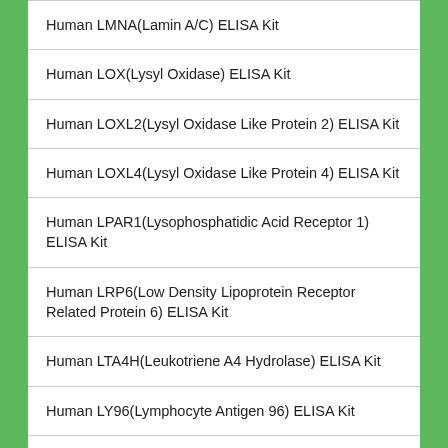Human LMNA(Lamin A/C) ELISA Kit
Human LOX(Lysyl Oxidase) ELISA Kit
Human LOXL2(Lysyl Oxidase Like Protein 2) ELISA Kit
Human LOXL4(Lysyl Oxidase Like Protein 4) ELISA Kit
Human LPAR1(Lysophosphatidic Acid Receptor 1) ELISA Kit
Human LRP6(Low Density Lipoprotein Receptor Related Protein 6) ELISA Kit
Human LTA4H(Leukotriene A4 Hydrolase) ELISA Kit
Human LY96(Lymphocyte Antigen 96) ELISA Kit
Human LYN(V-Yes-1 Yamaguchi Sarcoma Viral Related...